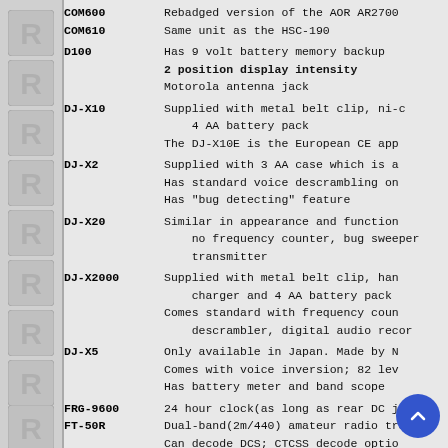| Model | Description |
| --- | --- |
| COM600 | Rebadged version of the AOR AR2700 |
| COM610 | Same unit as the HSC-190 |
| D100 | Has 9 volt battery memory backup
2 position display intensity
Motorola antenna jack |
| DJ-X10 | Supplied with metal belt clip, ni-...
4 AA battery pack
The DJ-X10E is the European CE app... |
| DJ-X2 | Supplied with 3 AA case which is a...
Has standard voice descrambling on...
Has "bug detecting" feature |
| DJ-X20 | Similar in appearance and function...
no frequency counter, bug sweeper
transmitter |
| DJ-X2000 | Supplied with metal belt clip, han...
charger and 4 AA battery pack
Comes standard with frequency coun...
descrambler, digital audio recor... |
| DJ-X5 | Only available in Japan. Made by N...
Comes with voice inversion; 82 lev...
Has battery meter and band scope |
| FRG-9600 | 24 hour clock(as long as rear DC ja... |
| FT-50R | Dual-band(2m/440) amateur radio tra...
Can decode DCS; CTCSS decode optio...
Optional Digital Voice Recording Sy... |
| HS200 | Can decode CTCSS & DCS |
| HSC-010 | Same unit as the AR2000 and TR-120...
Supplied with carry case |
| HSC-050 | Same unit as the TR-2400 |
| HSC-190 | Rebadged version of the AR270... |